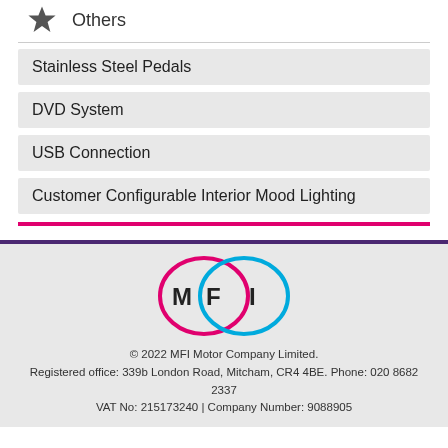Others
Stainless Steel Pedals
DVD System
USB Connection
Customer Configurable Interior Mood Lighting
[Figure (logo): MFI Motor Company logo with overlapping circles in pink and blue with M, F, I letters]
© 2022 MFI Motor Company Limited. Registered office: 339b London Road, Mitcham, CR4 4BE. Phone: 020 8682 2337 VAT No: 215173240 | Company Number: 9088905